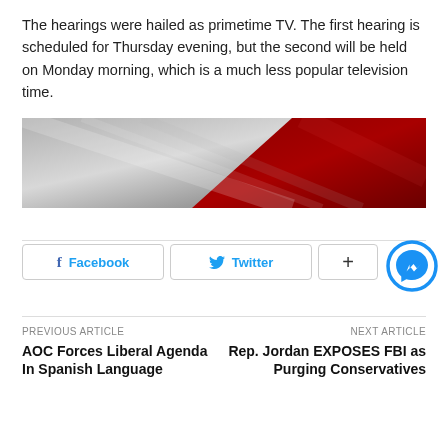The hearings were hailed as primetime TV. The first hearing is scheduled for Thursday evening, but the second will be held on Monday morning, which is a much less popular television time.
[Figure (photo): Diagonal image split between a metallic gray surface on the left and a deep red/maroon surface on the right, resembling a flag or banner detail.]
[Figure (other): Facebook share button, Twitter share button, plus button, and Facebook Messenger circle icon]
PREVIOUS ARTICLE
AOC Forces Liberal Agenda In Spanish Language
NEXT ARTICLE
Rep. Jordan EXPOSES FBI as Purging Conservatives